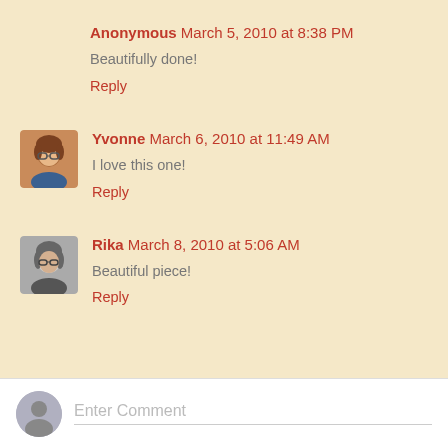Anonymous March 5, 2010 at 8:38 PM
Beautifully done!
Reply
Yvonne March 6, 2010 at 11:49 AM
I love this one!
Reply
Rika March 8, 2010 at 5:06 AM
Beautiful piece!
Reply
Enter Comment